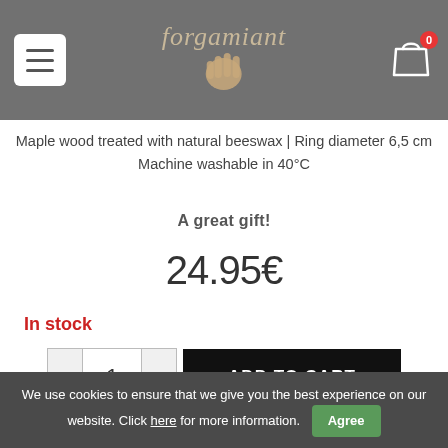forgamiant — online shop header with menu icon and cart (0 items)
Maple wood treated with natural beeswax | Ring diameter 6,5 cm
Machine washable in 40°C
A great gift!
24.95€
In stock
- 1 + ADD TO CART
We use cookies to ensure that we give you the best experience on our website. Click here for more information. Agree